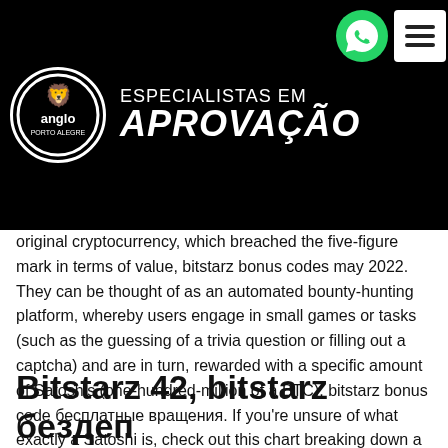[Figure (logo): Anglo Porto Alegre logo with text 'ESPECIALISTAS EM APROVAÇÃO' on black background with WhatsApp and hamburger menu icons]
original cryptocurrency, which breached the five-figure mark in terms of value, bitstarz bonus codes may 2022. They can be thought of as an automated bounty-hunting platform, whereby users engage in small games or tasks (such as the guessing of a trivia question or filling out a captcha) and are in turn, rewarded with a specific amount of Satoshis (one-hundred-million of a BTC), bitstarz bonus code бесплатные вращения. If you're unsure of what exactly a Satoshi is, check out this chart breaking down a Satoshi's BTC equivalent.
Bitstarz 42, bitstarz бездеп